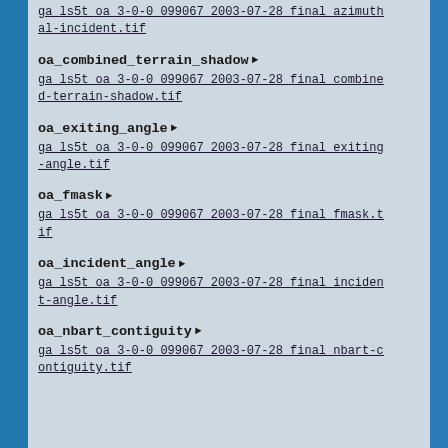ga_ls5t_oa_3-0-0_099067_2003-07-28_final_azimuthal-incident.tif
oa_combined_terrain_shadow ▶
ga_ls5t_oa_3-0-0_099067_2003-07-28_final_combined-terrain-shadow.tif
oa_exiting_angle ▶
ga_ls5t_oa_3-0-0_099067_2003-07-28_final_exiting-angle.tif
oa_fmask ▶
ga_ls5t_oa_3-0-0_099067_2003-07-28_final_fmask.tif
oa_incident_angle ▶
ga_ls5t_oa_3-0-0_099067_2003-07-28_final_incident-angle.tif
oa_nbart_contiguity ▶
ga_ls5t_oa_3-0-0_099067_2003-07-28_final_nbart-contiguity.tif